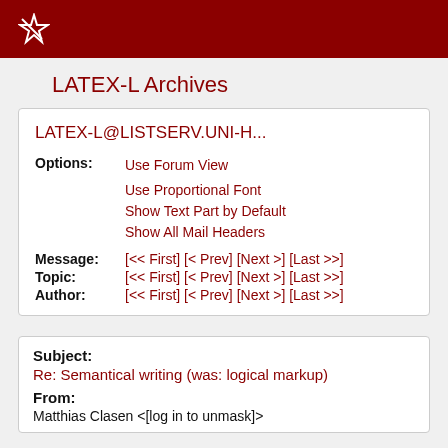LATEX-L Archives
LATEX-L@LISTSERV.UNI-H...
Options: Use Forum View
Use Proportional Font
Show Text Part by Default
Show All Mail Headers
Message: [<< First] [< Prev] [Next >] [Last >>]
Topic: [<< First] [< Prev] [Next >] [Last >>]
Author: [<< First] [< Prev] [Next >] [Last >>]
Subject:
Re: Semantical writing (was: logical markup)
From:
Matthias Clasen <[log in to unmask]>